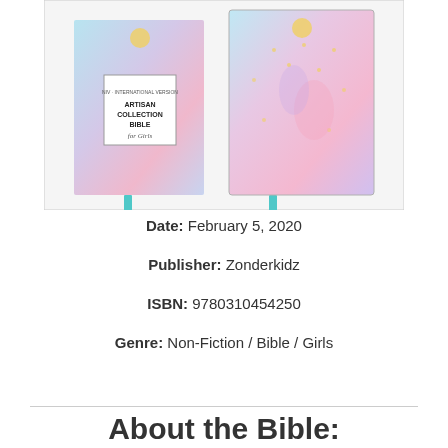[Figure (photo): Two copies of the Artisan Collection Bible for Girls (NIV) by Zonderkidz, showing the front cover and spine. The covers feature a pastel watercolor design with pink, blue, and purple tones, gold dots, and floral elements. A teal ribbon bookmark is visible. The box cover shows the title 'ARTISAN COLLECTION BIBLE for Girls' in a white rectangle.]
Date: February 5, 2020
Publisher: Zonderkidz
ISBN: 9780310454250
Genre: Non-Fiction / Bible / Girls
About the Bible: